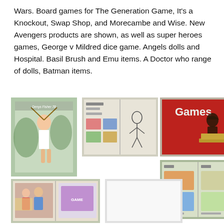Wars. Board games for The Generation Game, It's a Knockout, Swap Shop, and Morecambe and Wise. New Avengers products are shown, as well as super heroes games, George v Mildred dice game. Angels dolls and Hospital. Basil Brush and Emu items. A Doctor who range of dolls, Batman items.
[Figure (photo): Catalog cover showing a child on a swing, green background, 'Denys Fisher 78' text]
[Figure (photo): Open catalog spread showing various toy products including figures and games]
[Figure (photo): Red catalog cover with 'Games' text in white and illustration of person with board game]
[Figure (photo): Open catalog spread showing various board games and toy products]
[Figure (photo): Open catalog spread showing board games with colorful covers including people]
[Figure (photo): Blank or mostly white catalog page]